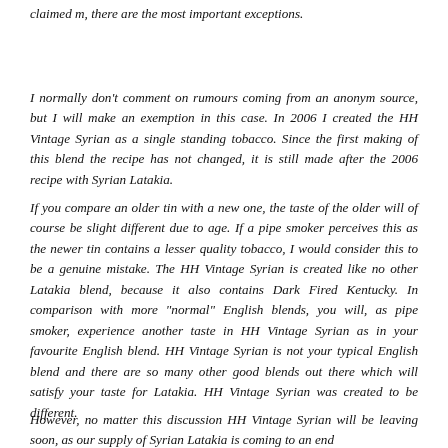claimed m, there are the most important exceptions.
I normally don't comment on rumours coming from an anonym source, but I will make an exemption in this case. In 2006 I created the HH Vintage Syrian as a single standing tobacco. Since the first making of this blend the recipe has not changed, it is still made after the 2006 recipe with Syrian Latakia.
If you compare an older tin with a new one, the taste of the older will of course be slight different due to age. If a pipe smoker perceives this as the newer tin contains a lesser quality tobacco, I would consider this to be a genuine mistake. The HH Vintage Syrian is created like no other Latakia blend, because it also contains Dark Fired Kentucky. In comparison with more "normal" English blends, you will, as pipe smoker, experience another taste in HH Vintage Syrian as in your favourite English blend. HH Vintage Syrian is not your typical English blend and there are so many other good blends out there which will satisfy your taste for Latakia. HH Vintage Syrian was created to be different.
However, no matter this discussion HH Vintage Syrian will be leaving soon, as our supply of Syrian Latakia is coming to an end